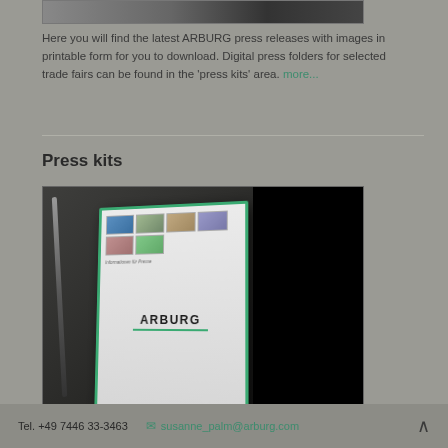[Figure (photo): Partial top image showing dark background, possibly machinery or equipment related to ARBURG]
Here you will find the latest ARBURG press releases with images in printable form for you to download. Digital press folders for selected trade fairs can be found in the 'press kits' area. more...
Press kits
[Figure (photo): Photo of an ARBURG press kit booklet in a green-framed plastic holder, displayed on a dark surface next to a pen. The booklet shows multiple thumbnail photos on the cover and the ARBURG logo with green underline.]
Digital ARBURG press folders contain exactly the same material as the printed folders, CDs or USB sticks that we provide for selected
Tel. +49 7446 33-3463  susanne_palm@arburg.com